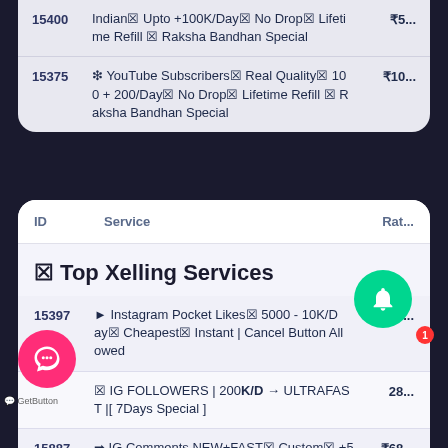| ID | Service | Rate |
| --- | --- | --- |
| 15400 | Indian🔲 Upto +100K/Day🔲 No Drop🔲 Lifetime Refill 🔲 Raksha Bandhan Special | ₹5... |
| 15375 | ✿ YouTube Subscribers🔲 Real Quality🔲 100 + 200/Day🔲 No Drop🔲 Lifetime Refill 🔲 Raksha Bandhan Special | ₹10... |
| ID | Service | Rate |
| --- | --- | --- |
🔲 Top Xelling Services
| ID | Service | Rate |
| --- | --- | --- |
| 15397 | ➤ Instagram Pocket Likes🔲 5000 - 10K/Day🔲 Cheapest🔲 Instant | Cancel Button Allowed | ₹1... |
|  | 🔲 IG FOLLOWERS | 200K/D → ULTRAFAST |[ 7Days Special ] | 28... |
| 15887 | ➡ IG Comments NEW+FAST🔲 Custom🔲 +5 | ₹68... |